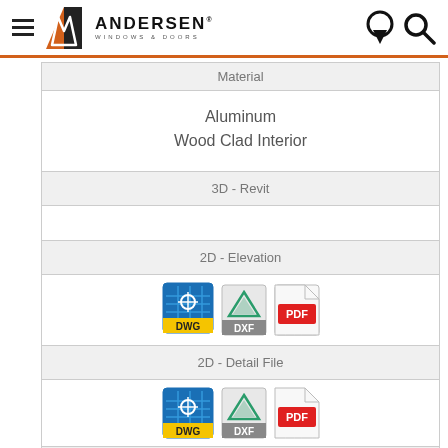Andersen Windows & Doors
| Material |
| --- |
| Aluminum
Wood Clad Interior |
| 3D - Revit |
|  |
| 2D - Elevation |
| [DWG][DXF][PDF] icons |
| 2D - Detail File |
| [DWG][DXF][PDF] icons |
| CSI Guide Spec |
| [Word] icon |
[Figure (screenshot): File format download icons: DWG (blue grid square with DWG label), DXF (Autodesk triangle logo with DXF label), PDF (paper with PDF label) — shown for 2D Elevation and 2D Detail File rows. Word document icon shown for CSI Guide Spec row.]